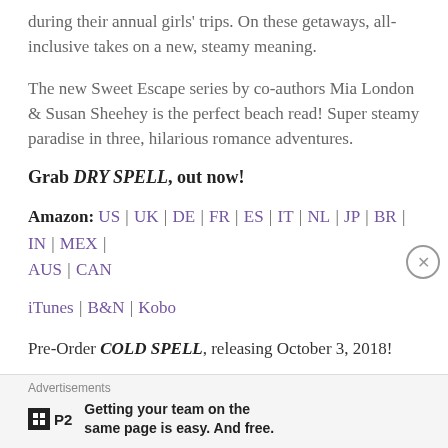during their annual girls' trips. On these getaways, all-inclusive takes on a new, steamy meaning.
The new Sweet Escape series by co-authors Mia London & Susan Sheehey is the perfect beach read! Super steamy paradise in three, hilarious romance adventures.
Grab DRY SPELL, out now!
Amazon: US | UK | DE | FR | ES | IT | NL | JP | BR | IN | MEX | AUS | CAN
iTunes | B&N | Kobo
Pre-Order COLD SPELL, releasing October 3, 2018!
Advertisements
Getting your team on the same page is easy. And free.